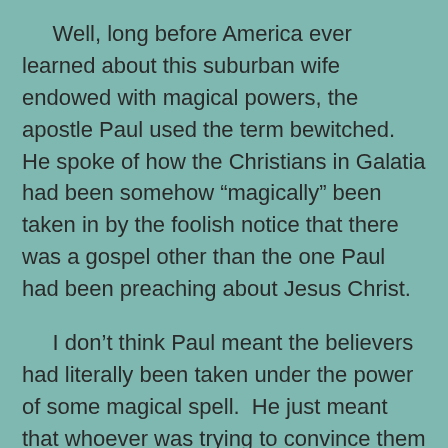Well, long before America ever learned about this suburban wife endowed with magical powers, the apostle Paul used the term bewitched.  He spoke of how the Christians in Galatia had been somehow “magically” been taken in by the foolish notice that there was a gospel other than the one Paul had been preaching about Jesus Christ.
I don’t think Paul meant the believers had literally been taken under the power of some magical spell.  He just meant that whoever was trying to convince them of some very wrong ideas had them, in a way, under a spell.